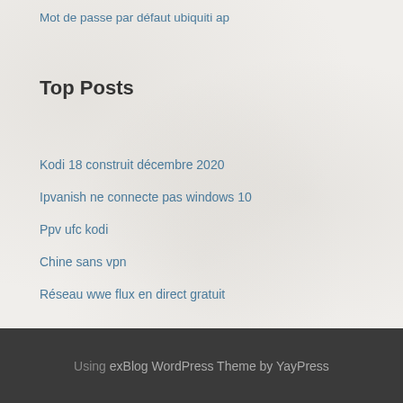Mot de passe par défaut ubiquiti ap
Top Posts
Kodi 18 construit décembre 2020
Ipvanish ne connecte pas windows 10
Ppv ufc kodi
Chine sans vpn
Réseau wwe flux en direct gratuit
Using exBlog WordPress Theme by YayPress